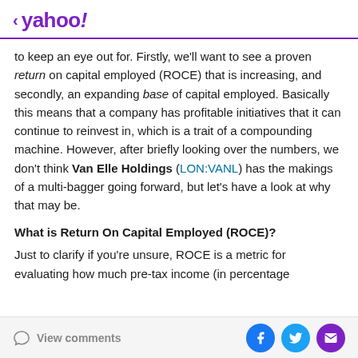< yahoo!
to keep an eye out for. Firstly, we'll want to see a proven return on capital employed (ROCE) that is increasing, and secondly, an expanding base of capital employed. Basically this means that a company has profitable initiatives that it can continue to reinvest in, which is a trait of a compounding machine. However, after briefly looking over the numbers, we don't think Van Elle Holdings (LON:VANL) has the makings of a multi-bagger going forward, but let's have a look at why that may be.
What is Return On Capital Employed (ROCE)?
Just to clarify if you're unsure, ROCE is a metric for evaluating how much pre-tax income (in percentage
View comments